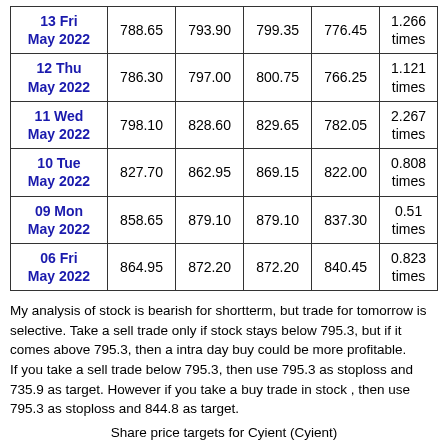| Date | Price | Col3 | Col4 | Col5 | Ratio |
| --- | --- | --- | --- | --- | --- |
| 13 Fri May 2022 | 788.65 | 793.90 | 799.35 | 776.45 | 1.266 times |
| 12 Thu May 2022 | 786.30 | 797.00 | 800.75 | 766.25 | 1.121 times |
| 11 Wed May 2022 | 798.10 | 828.60 | 829.65 | 782.05 | 2.267 times |
| 10 Tue May 2022 | 827.70 | 862.95 | 869.15 | 822.00 | 0.808 times |
| 09 Mon May 2022 | 858.65 | 879.10 | 879.10 | 837.30 | 0.51 times |
| 06 Fri May 2022 | 864.95 | 872.20 | 872.20 | 840.45 | 0.823 times |
My analysis of stock is bearish for shortterm, but trade for tomorrow is selective. Take a sell trade only if stock stays below 795.3, but if it comes above 795.3, then a intra day buy could be more profitable.
If you take a sell trade below 795.3, then use 795.3 as stoploss and 735.9 as target. However if you take a buy trade in stock , then use 795.3 as stoploss and 844.8 as target.
Share price targets for Cyient (Cyient)